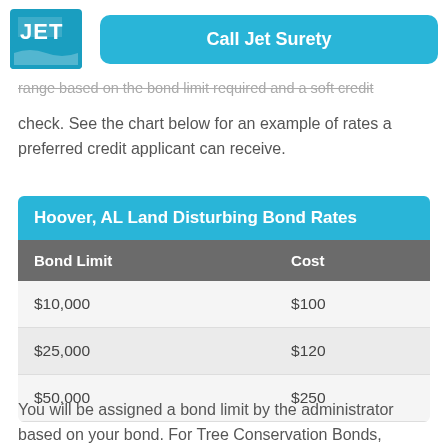Call Jet Surety
range based on the bond limit required and a soft credit check. See the chart below for an example of rates a preferred credit applicant can receive.
| Bond Limit | Cost |
| --- | --- |
| $10,000 | $100 |
| $25,000 | $120 |
| $50,000 | $250 |
You will be assigned a bond limit by the administrator based on your bond. For Tree Conservation Bonds, Section